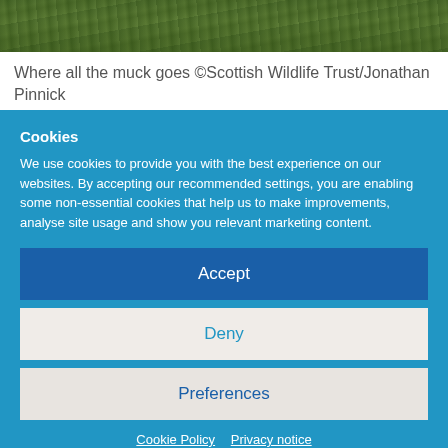[Figure (photo): Close-up photograph of grass and ground vegetation, greenish tones, partial view cropped at top of page]
Where all the muck goes ©Scottish Wildlife Trust/Jonathan Pinnick
Cookies
We use cookies to provide you with the best experience on our websites. By accepting our recommended settings, you are enabling some non-essential cookies that help us to make improvements, analyse site usage and show you relevant marketing content.
Accept
Deny
Preferences
Cookie Policy   Privacy notice